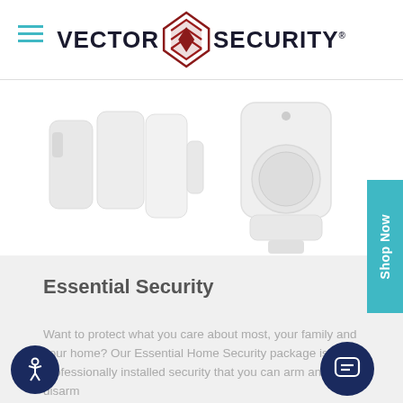[Figure (logo): Vector Security logo with red diamond/chevron icon between VECTOR and SECURITY text]
[Figure (photo): White door/window contact sensors (3 pieces) and a white motion detector sensor on white background]
[Figure (other): Teal 'Shop Now' vertical tab button on right edge]
Essential Security
Want to protect what you care about most, your family and your home? Our Essential Home Security package is professionally installed security that you can arm and disarm